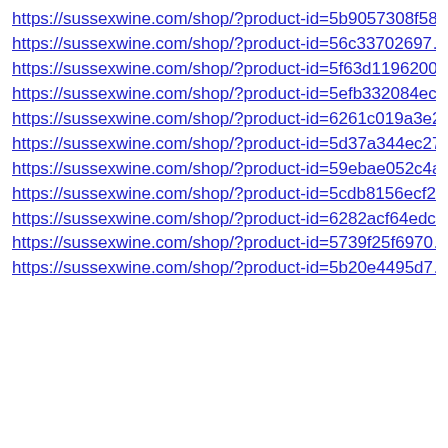https://sussexwine.com/shop/?product-id=5b9057308f58…
https://sussexwine.com/shop/?product-id=56c33702697…
https://sussexwine.com/shop/?product-id=5f63d1196200…
https://sussexwine.com/shop/?product-id=5efb332084ec…
https://sussexwine.com/shop/?product-id=6261c019a3e2…
https://sussexwine.com/shop/?product-id=5d37a344ec27…
https://sussexwine.com/shop/?product-id=59ebae052c4a…
https://sussexwine.com/shop/?product-id=5cdb8156ecf2…
https://sussexwine.com/shop/?product-id=6282acf64edc…
https://sussexwine.com/shop/?product-id=5739f25f6970…
https://sussexwine.com/shop/?product-id=5b20e4495d7…